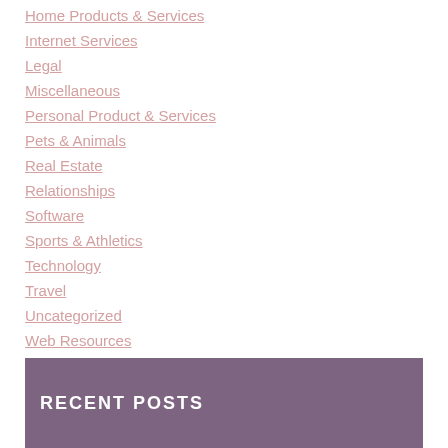Home Products & Services
Internet Services
Legal
Miscellaneous
Personal Product & Services
Pets & Animals
Real Estate
Relationships
Software
Sports & Athletics
Technology
Travel
Uncategorized
Web Resources
RECENT POSTS